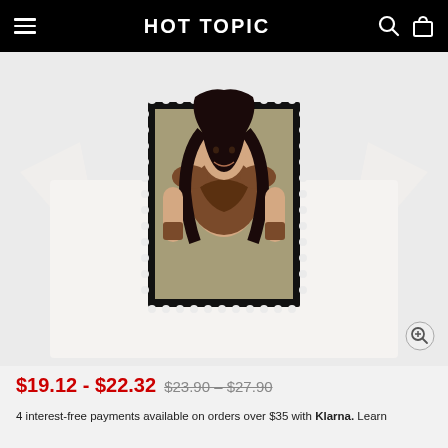HOT TOPIC
[Figure (photo): White t-shirt displayed on a light gray background. The shirt features a postage-stamp style graphic print of a dark-haired woman in fantasy warrior armor (Xena: Warrior Princess style). The stamp image is framed with perforated black borders.]
$19.12 - $22.32  $23.90 - $27.90
4 interest-free payments available on orders over $35 with Klarna. Learn